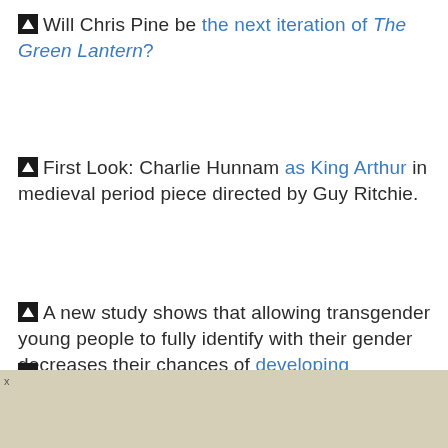Will Chris Pine be the next iteration of The Green Lantern?
First Look: Charlie Hunnam as King Arthur in medieval period piece directed by Guy Ritchie.
A new study shows that allowing transgender young people to fully identify with their gender decreases their chances of developing depression and anxiety.